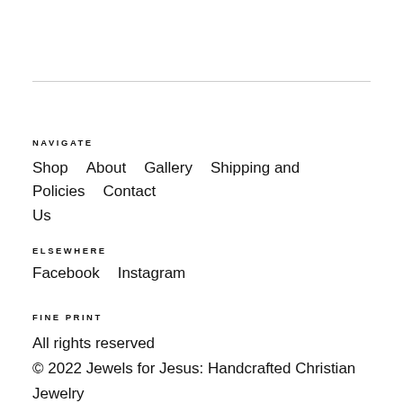NAVIGATE
Shop    About    Gallery    Shipping and Policies    Contact Us
ELSEWHERE
Facebook    Instagram
FINE PRINT
All rights reserved
© 2022 Jewels for Jesus: Handcrafted Christian Jewelry
Powered by Etsy